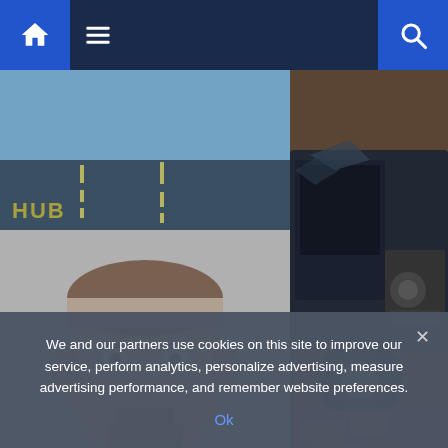Metro.co navigation bar with home icon, hamburger menu, and search icon
[Figure (photo): Three-photo collage: top-left shows a road/highway view from inside a car, bottom-left shows a mugshot of a middle-aged balding man with stubble, right side shows a heavily damaged dark car crashed into brick rubble with METRO.co watermark]
Europe
Drunk driver loses control at 93mph and crashes into house
We and our partners use cookies on this site to improve our service, perform analytics, personalize advertising, measure advertising performance, and remember website preferences.
Ok